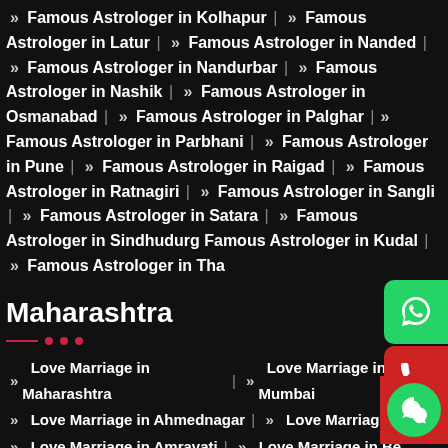» Famous Astrologer in Kolhapur | » Famous Astrologer in Latur | » Famous Astrologer in Nanded | » Famous Astrologer in Nandurbar | » Famous Astrologer in Nashik | » Famous Astrologer in Osmanabad | » Famous Astrologer in Palghar | » Famous Astrologer in Parbhani | » Famous Astrologer in Pune | » Famous Astrologer in Raigad | » Famous Astrologer in Ratnagiri | » Famous Astrologer in Sangli | » Famous Astrologer in Satara | » Famous Astrologer in Sindhudurg | Famous Astrologer in Kudal | » Famous Astrologer in Tha…
Maharashtra
» Love Marriage in Maharashtra | » Love Marriage in Mumbai | » Love Marriage in Ahmednagar | » Love Marriage… | » Love Marriage in Amravati | » Love Marriage in Be… | » Love Marriage in Bhandara | » Love Marriage in Buldhana…